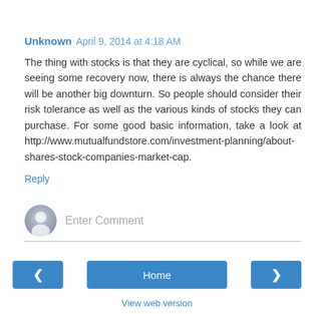Unknown April 9, 2014 at 4:18 AM
The thing with stocks is that they are cyclical, so while we are seeing some recovery now, there is always the chance there will be another big downturn. So people should consider their risk tolerance as well as the various kinds of stocks they can purchase. For some good basic information, take a look at http://www.mutualfundstore.com/investment-planning/about-shares-stock-companies-market-cap.
Reply
Enter Comment
Home
View web version